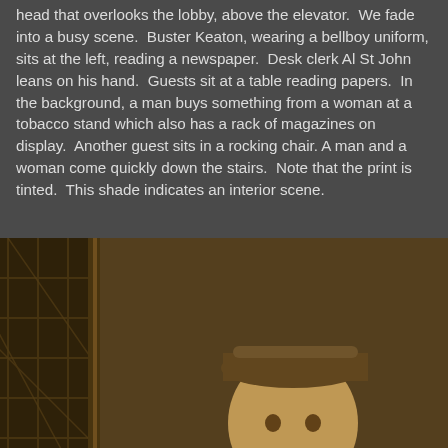head that overlooks the lobby, above the elevator. We fade into a busy scene. Buster Keaton, wearing a bellboy uniform, sits at the left, reading a newspaper. Desk clerk Al St John leans on his hand. Guests sit at a table reading papers. In the background, a man buys something from a woman at a tobacco stand which also has a rack of magazines on display. Another guest sits in a rocking chair. A man and a woman come quickly down the stairs. Note that the print is tinted. This shade indicates an interior scene.
[Figure (photo): Sepia-toned still from a silent film showing a heavyset man in a bellboy uniform standing in what appears to be a hotel lobby with ornate wooden panels and doors visible in the background.]